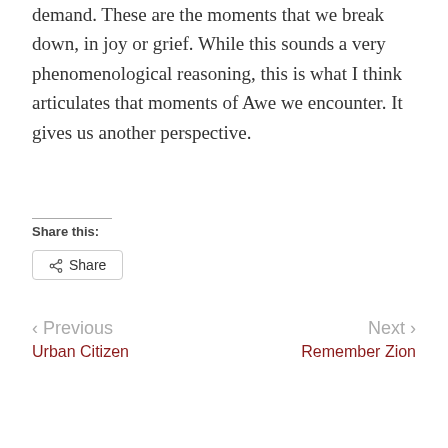demand. These are the moments that we break down, in joy or grief. While this sounds a very phenomenological reasoning, this is what I think articulates that moments of Awe we encounter. It gives us another perspective.
Share this:
Share
< Previous
Urban Citizen
Next >
Remember Zion